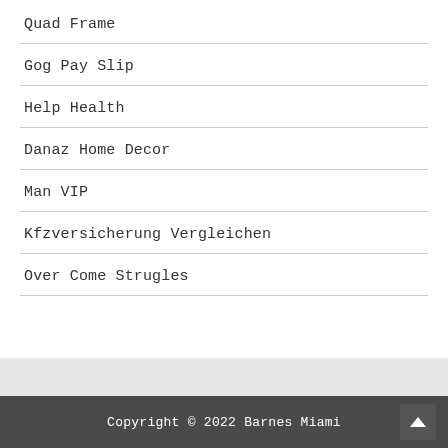Quad Frame
Gog Pay Slip
Help Health
Danaz Home Decor
Man VIP
Kfzversicherung Vergleichen
Over Come Strugles
Copyright © 2022 Barnes Miami